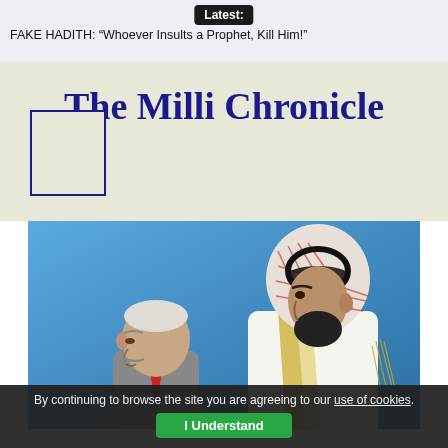Latest:
FAKE HADITH: “Whoever Insults a Prophet, Kill Him!”
The Milli Chronicle
[Figure (photo): Two men standing back to back: a man in a suit on the left and a man in traditional Saudi white thobe and red-and-white keffiyeh on the right, against a blue background.]
By continuing to browse the site you are agreeing to our use of cookies.
I Understand